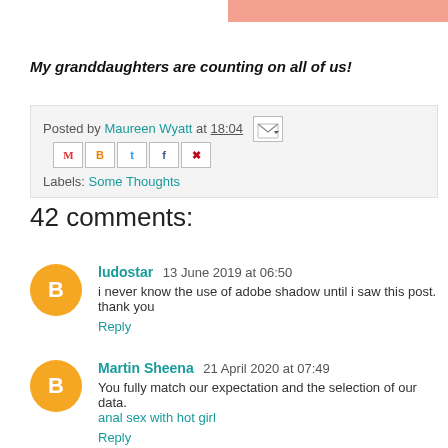[Figure (other): Salmon/pink colored header bar in top right corner]
My granddaughters are counting on all of us!
Posted by Maureen Wyatt at 18:04   Labels: Some Thoughts
42 comments:
ludostar  13 June 2019 at 06:50
i never know the use of adobe shadow until i saw this post. thank you
Reply
Martin Sheena  21 April 2020 at 07:49
You fully match our expectation and the selection of our data.
anal sex with hot girl
Reply